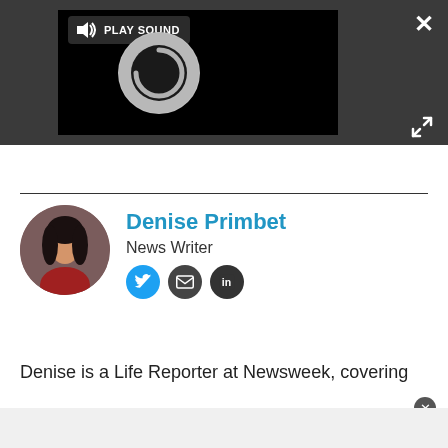[Figure (screenshot): Video player with dark background, a circular spinner/loading icon in the center, and a 'PLAY SOUND' button with speaker icon at top left. An X close button and expand arrows icon are visible on the right side of the dark bar.]
Denise Primbet
News Writer
Denise is a Life Reporter at Newsweek, covering